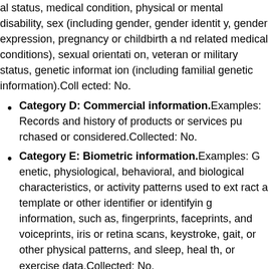al status, medical condition, physical or mental disability, sex (including gender, gender identity, gender expression, pregnancy or childbirth and related medical conditions), sexual orientation, veteran or military status, genetic information (including familial genetic information).Collected: No.
Category D: Commercial information. Examples: Records and history of products or services purchased or considered.Collected: No.
Category E: Biometric information. Examples: Genetic, physiological, behavioral, and biological characteristics, or activity patterns used to extract a template or other identifier or identifying information, such as, fingerprints, faceprints, and voiceprints, iris or retina scans, keystroke, gait, or other physical patterns, and sleep, health, or exercise data.Collected: No.
Category F: Internet or other similar network a...